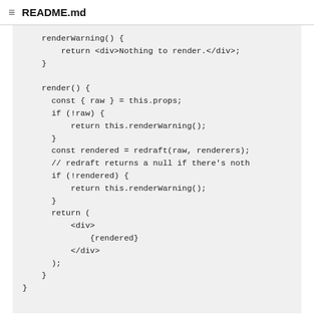README.md
[Figure (screenshot): Code block showing a React component render method with renderWarning, render, and JSX return statement using redraft library]